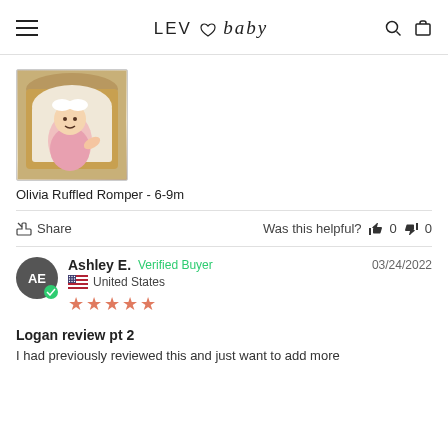LEV ♡ baby
[Figure (photo): Baby girl in pink floral romper sitting in a wicker basket with white bow headband]
Olivia Ruffled Romper - 6-9m
Share   Was this helpful? 👍 0 👎 0
Ashley E. Verified Buyer   03/24/2022
United States
★★★★★
Logan review pt 2
I had previously reviewed this and just want to add more